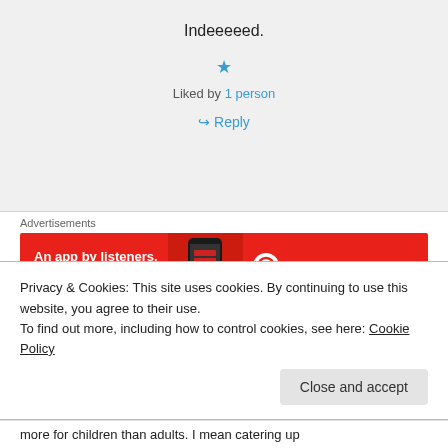Indeeeeed.
★ Liked by 1 person
↳ Reply
Advertisements
[Figure (screenshot): Pocket Casts advertisement banner: red background with text 'An app by listeners, for listeners.' with phone graphic and Pocket Casts logo]
REPORT THIS AD
Privacy & Cookies: This site uses cookies. By continuing to use this website, you agree to their use.
To find out more, including how to control cookies, see here: Cookie Policy
Close and accept
more for children than adults. I mean catering up